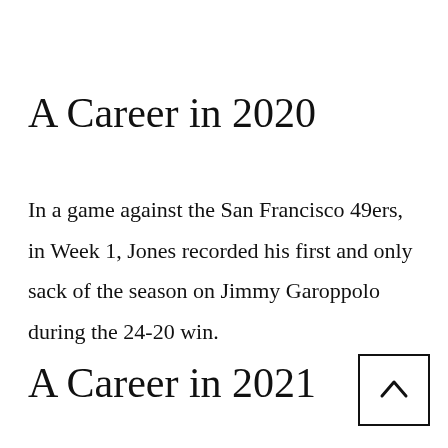A Career in 2020
In a game against the San Francisco 49ers, in Week 1, Jones recorded his first and only sack of the season on Jimmy Garoppolo during the 24-20 win.
A Career in 2021
[Figure (other): Scroll-up navigation button — a square box with an upward-pointing chevron/caret arrow icon inside]
Jones in Week 1 against the T...